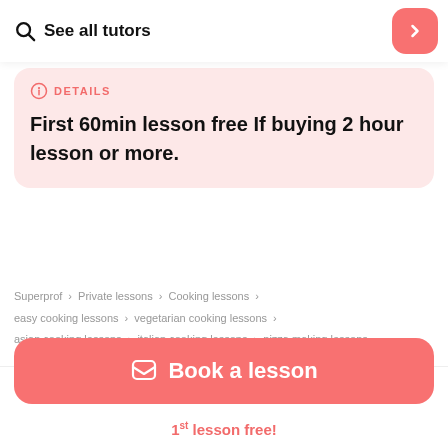See all tutors
DETAILS
First 60min lesson free If buying 2 hour lesson or more.
Superprof > Private lessons > Cooking lessons > easy cooking lessons > vegetarian cooking lessons > asian cooking lessons > italian cooking lessons > pizza making lessons
Book a lesson
1st lesson free!